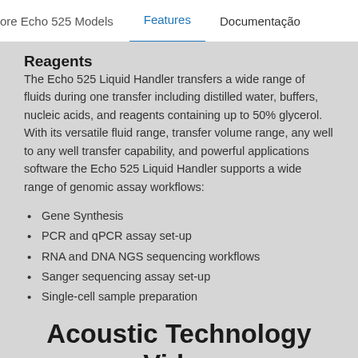ore Echo 525 Models   Features   Documentação
Reagents
The Echo 525 Liquid Handler transfers a wide range of fluids during one transfer including distilled water, buffers, nucleic acids, and reagents containing up to 50% glycerol. With its versatile fluid range, transfer volume range, any well to any well transfer capability, and powerful applications software the Echo 525 Liquid Handler supports a wide range of genomic assay workflows:
Gene Synthesis
PCR and qPCR assay set-up
RNA and DNA NGS sequencing workflows
Sanger sequencing assay set-up
Single-cell sample preparation
Acoustic Technology Video